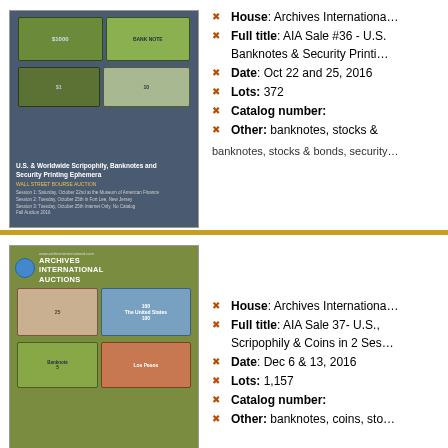[Figure (photo): Auction catalog cover for AIA Sale #36, showing banknotes from U.S. and worldwide, dark blue-grey background, Wall Street Bourse Auction]
House: Archives International Auctions
Full title: AIA Sale #36 - U.S. & Worldwide Scripophily, Banknotes & Security Printing Ephemera
Date: Oct 22 and 25, 2016
Lots: 372
Catalog number:
Other: banknotes, stocks &
banknotes, stocks & bonds, security
[Figure (photo): Auction catalog cover for AIA Sale 37, olive/green background, Archives International Auctions logo with globe, showing banknotes from U.S., Chinese & Worldwide]
House: Archives International Auctions
Full title: AIA Sale 37- U.S., Chinese & Worldwide Scripophily & Coins in 2 Sessions
Date: Dec 6 & 13, 2016
Lots: 1,157
Catalog number:
Other: banknotes, coins, sto